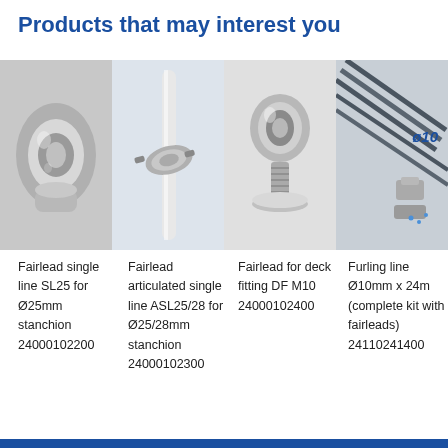Products that may interest you
[Figure (photo): Four product photos: Fairlead single line SL25, Fairlead articulated single line ASL25/28, Fairlead for deck fitting DF M10, and Furling line Ø10mm set with ø10 diameter label]
Fairlead single line SL25 for Ø25mm stanchion 24000102200
Fairlead articulated single line ASL25/28 for Ø25/28mm stanchion 24000102300
Fairlead for deck fitting DF M10 24000102400
Furling line Ø10mm x 24m (complete kit with fairleads) 24110241400